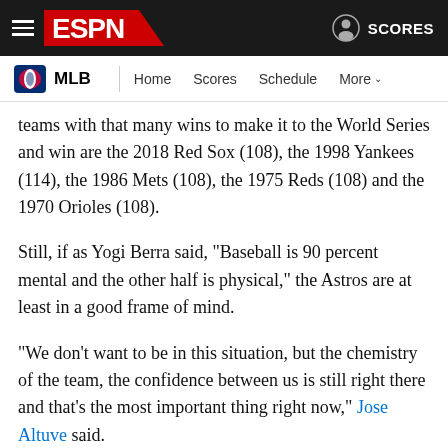ESPN — MLB | Home | Scores | Schedule | More | SCORES
teams with that many wins to make it to the World Series and win are the 2018 Red Sox (108), the 1998 Yankees (114), the 1986 Mets (108), the 1975 Reds (108) and the 1970 Orioles (108).
Still, if as Yogi Berra said, "Baseball is 90 percent mental and the other half is physical," the Astros are at least in a good frame of mind.
"We don't want to be in this situation, but the chemistry of the team, the confidence between us is still right there and that's the most important thing right now," Jose Altuve said.
Reason the Astros will lose: The Nationals are really good ... and really hot